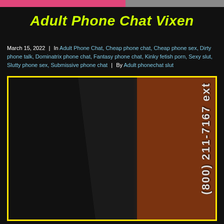Adult Phone Chat Vixen
March 15, 2022 | In Adult Phone Chat, Cheap phone chat, Cheap phone sex, Dirty phone talk, Dominatrix phone chat, Fantasy phone chat, Kinky fetish porn, Sexy slut, Slutty phone sex, Submissive phone chat | By Adult phonechat slut
[Figure (photo): Two people in a BDSM-themed scene, one in black lace outfit viewed from behind, the other in dark clothing, with a phone number (800) 211-7167 ext overlaid vertically on the right side]